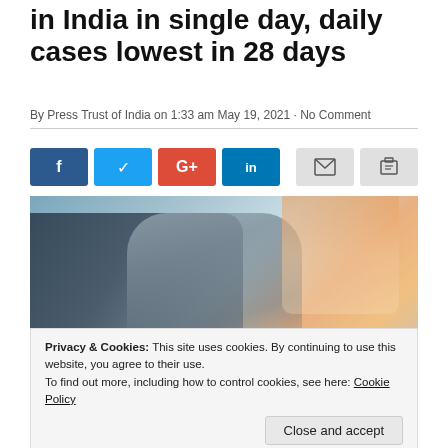in India in single day, daily cases lowest in 28 days
By Press Trust of India on 1:33 am May 19, 2021 · No Comment
[Figure (photo): A blurred composite image showing a person in a dark suit on the left and a statue-like figure in the center, with orange/warm tones on the right side, suggesting a double-exposure or overlay photograph.]
Privacy & Cookies: This site uses cookies. By continuing to use this website, you agree to their use.
To find out more, including how to control cookies, see here: Cookie Policy
2,78,719 with a record 4,329 fresh fatalities, while the single